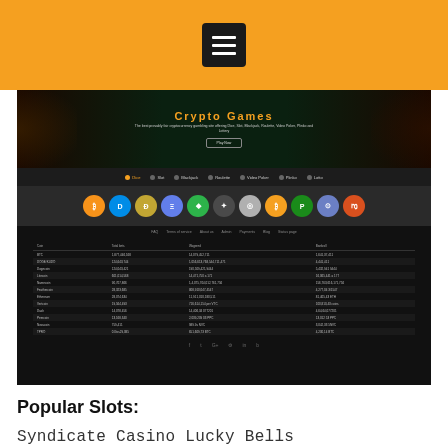[Figure (screenshot): Screenshot of Crypto Games casino website showing banner with roulette wheel and playing cards, navigation bar with game types (Dice, Slot, Blackjack, Roulette, Video Poker, Plinko, Lotto), cryptocurrency icons row (Bitcoin, Dash, Dogecoin, Ethereum, and others), footer links, and statistics table with coin betting data]
Popular Slots:
Syndicate Casino Lucky Bells